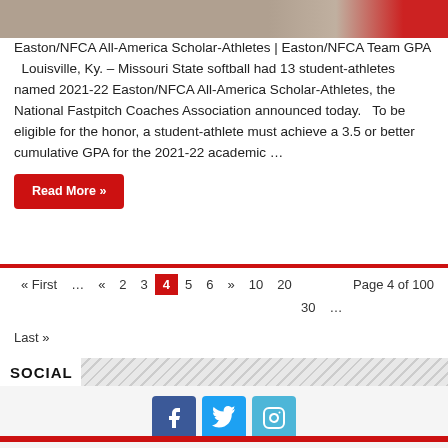[Figure (photo): Cropped top portion of a photo showing athletes, partially visible]
Easton/NFCA All-America Scholar-Athletes | Easton/NFCA Team GPA   Louisville, Ky. – Missouri State softball had 13 student-athletes named 2021-22 Easton/NFCA All-America Scholar-Athletes, the National Fastpitch Coaches Association announced today.   To be eligible for the honor, a student-athlete must achieve a 3.5 or better cumulative GPA for the 2021-22 academic …
Read More »
« First  …  «  2  3  4  5  6  »  10  20  Page 4 of 100  30  …
Last »
SOCIAL
[Figure (infographic): Social media icons: Facebook, Twitter, Instagram]